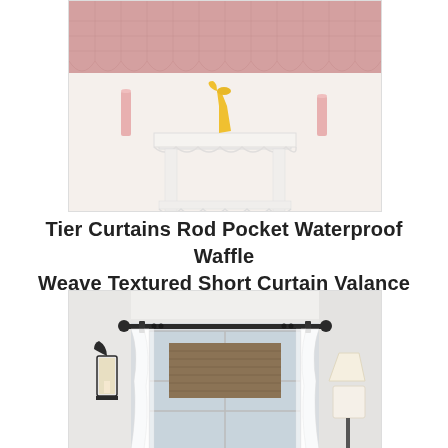[Figure (photo): Product photo of pink/mauve waffle-weave curtain valance with scalloped bottom edge mounted above a white scallop-edged side table with a yellow vase in center and pink candles on sides, against a light cream wall.]
Tier Curtains Rod Pocket Waterproof Waffle Weave Textured Short Curtain Valance Com
[Figure (photo): Interior photo of a living room window with white sheer curtains on a black rod, a woven Roman shade, a black wall sconce lantern on the left, and a floor lamp on the right.]